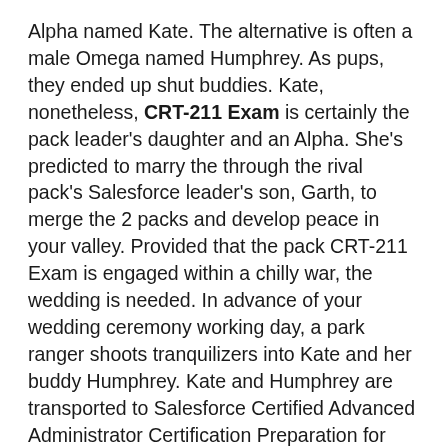Alpha named Kate. The alternative is often a male Omega named Humphrey. As pups, they ended up shut buddies. Kate, nonetheless, CRT-211 Exam is certainly the pack leader's daughter and an Alpha. She's predicted to marry the through the rival pack's Salesforce leader's son, Garth, to merge the 2 packs and develop peace in your valley. Provided that the pack CRT-211 Exam is engaged within a chilly war, the wedding is needed. In advance of your wedding ceremony working day, a park ranger shoots tranquilizers into Kate and her buddy Humphrey. Kate and Humphrey are transported to Salesforce Certified Advanced Administrator Certification Preparation for Advanced Administrator Exam Idaho, Salesforce CRT-211 dumps pdf to repopulate.
You could find a concern together with the software finding accustomed to fee the success of academics at Dallas faculties. On account of difficulties in coding